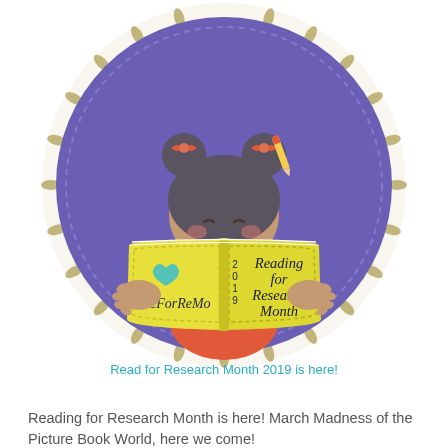[Figure (illustration): Circular illustration with purple background and leaf wreath border. A cartoon girl with dark hair in two buns with orange/red bows is holding open a large yellow book. The left page shows a teal heart and text 'ReForReMo'. The right page shows '2019' vertically and 'Reading for Research Month' in cursive. The girl's hands with splayed fingers are visible at the sides of the book.]
Read for Research Month 2019 is here!
Reading for Research Month is here! March Madness of the Picture Book World, here we come!